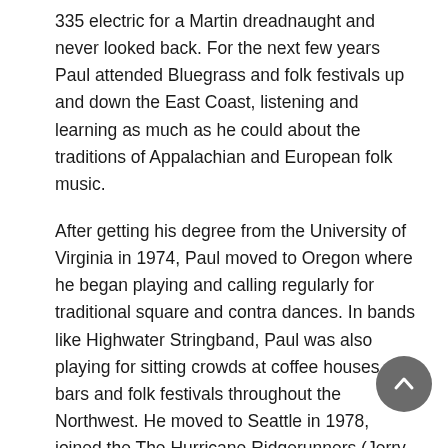335 electric for a Martin dreadnaught and never looked back. For the next few years Paul attended Bluegrass and folk festivals up and down the East Coast, listening and learning as much as he could about the traditions of Appalachian and European folk music.
After getting his degree from the University of Virginia in 1974, Paul moved to Oregon where he began playing and calling regularly for traditional square and contra dances. In bands like Highwater Stringband, Paul was also playing for sitting crowds at coffee houses, bars and folk festivals throughout the Northwest. He moved to Seattle in 1978, joined the The Hurricane Ridgerunners (Jerry Gallaher, Mark Graham, Armin Barnett, Paul Kotapish), and for the next few years toured nationwide and recorded an album with this hard-driving old-time string band. He also forged a musical alliance with Irish fiddle legend Kevin Burke, with whom he has recorded four albums. Paul is a member of Kevin Burke's Open House (Kevin Burke, Mark Graham, Sandy Silva, Paul